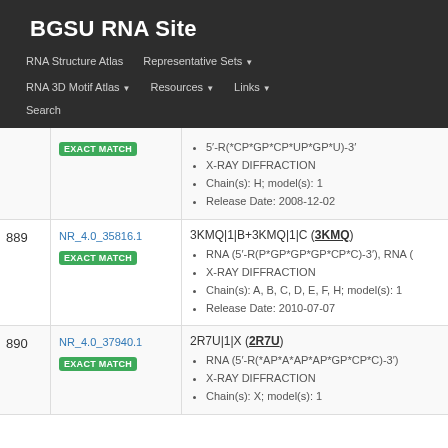BGSU RNA Site
RNA Structure Atlas
Representative Sets
RNA 3D Motif Atlas
Resources
Links
Search
| # | ID | Info |
| --- | --- | --- |
|  | EXACT MATCH | 5'-R(*CP*GP*CP*UP*GP*U)-3'; X-RAY DIFFRACTION; Chain(s): H; model(s): 1; Release Date: 2008-12-02 |
| 889 | NR_4.0_35816.1
EXACT MATCH | 3KMQ|1|B+3KMQ|1|C (3KMQ); RNA (5'-R(P*GP*GP*GP*CP*C)-3'), RNA; X-RAY DIFFRACTION; Chain(s): A, B, C, D, E, F, H; model(s): 1; Release Date: 2010-07-07 |
| 890 | NR_4.0_37940.1
EXACT MATCH | 2R7U|1|X (2R7U); RNA (5'-R(*AP*A*AP*AP*GP*CP*C)-3'); X-RAY DIFFRACTION; Chain(s): X; model(s): 1 |